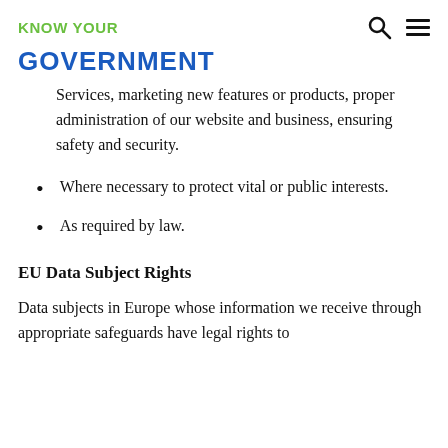KNOW YOUR
GOVERNMENT
Services, marketing new features or products, proper administration of our website and business, ensuring safety and security.
Where necessary to protect vital or public interests.
As required by law.
EU Data Subject Rights
Data subjects in Europe whose information we receive through appropriate safeguards have legal rights to